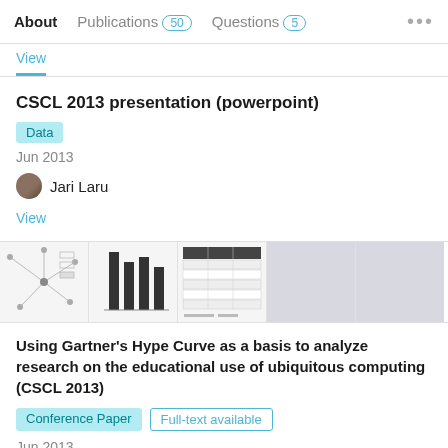About | Publications 50 | Questions 5 | ...
View
CSCL 2013 presentation (powerpoint)
Data
Jun 2013
Jari Laru
View
[Figure (screenshot): Thumbnail previews of a research paper with diagrams and tables]
Using Gartner's Hype Curve as a basis to analyze research on the educational use of ubiquitous computing (CSCL 2013)
Conference Paper  Full-text available
Jun 2013